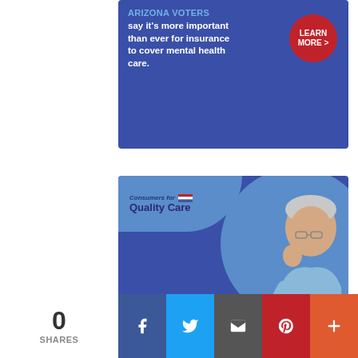[Figure (infographic): Top portion of insurance advertisement banner. Blue background. Text: 'ARIZONA VOTERS say it’s more important than ever for insurance to cover mental health care.' Red circular button: 'LEARN MORE >']
[Figure (infographic): Full advertisement for Consumers for Quality Care. Blue background with photo of elderly Asian man. Text: 'NEARLY 9/10 ARIZONA VOTERS say it’s more important than ever for insurance to cover mental health care.' Red circular button: 'LEARN MORE >']
[Figure (infographic): Bottom partial view of another advertisement with dark blue starburst background pattern.]
0 SHARES